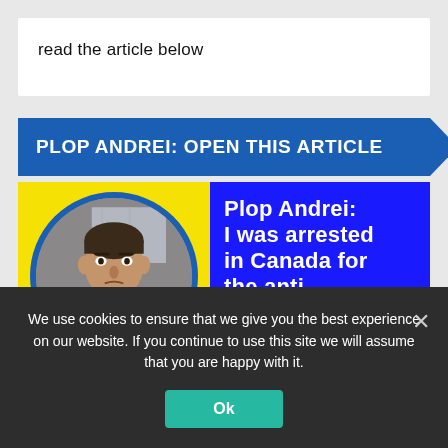read the article below
PLOP ANDREI: OPEN THIS ARTICLE
[Figure (photo): Circular photo of a man on a blue and yellow background with text 'Plop Andrei: I was arrested in Canada for the anti-communist']
We use cookies to ensure that we give you the best experience on our website. If you continue to use this site we will assume that you are happy with it.